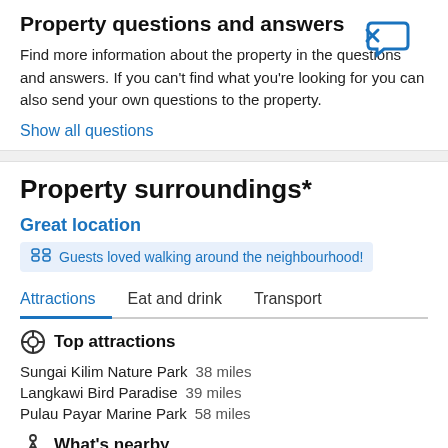Property questions and answers
Find more information about the property in the questions and answers. If you can't find what you're looking for you can also send your own questions to the property.
Show all questions
Property surroundings*
Great location
Guests loved walking around the neighbourhood!
Attractions  Eat and drink  Transport
Top attractions
Sungai Kilim Nature Park  38 miles
Langkawi Bird Paradise  39 miles
Pulau Payar Marine Park  58 miles
What's nearby
Langkawi Sky Bridge  25 miles